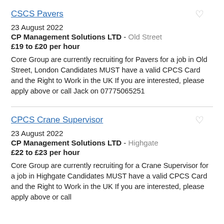CSCS Pavers
23 August 2022
CP Management Solutions LTD - Old Street
£19 to £20 per hour
Core Group are currently recruiting for Pavers for a job in Old Street, London Candidates MUST have a valid CPCS Card and the Right to Work in the UK If you are interested, please apply above or call Jack on 07775065251
CPCS Crane Supervisor
23 August 2022
CP Management Solutions LTD - Highgate
£22 to £23 per hour
Core Group are currently recruiting for a Crane Supervisor for a job in Highgate Candidates MUST have a valid CPCS Card and the Right to Work in the UK If you are interested, please apply above or call